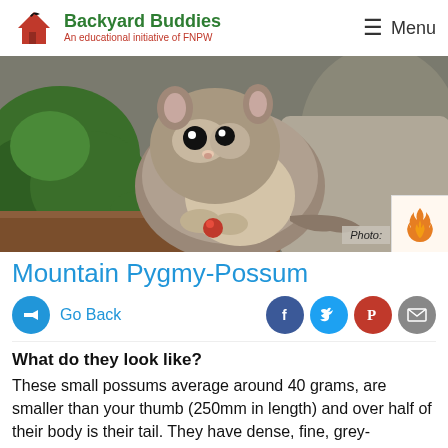Backyard Buddies — An educational initiative of FNPW | Menu
[Figure (photo): Close-up photograph of a Mountain Pygmy-Possum, a small grey-brown furry animal with large dark eyes, holding a red berry, surrounded by rocks and alpine vegetation. Photo credit watermark visible.]
Mountain Pygmy-Possum
Go Back
What do they look like?
These small possums average around 40 grams, are smaller than your thumb (250mm in length) and over half of their body is their tail. They have dense, fine, grey-